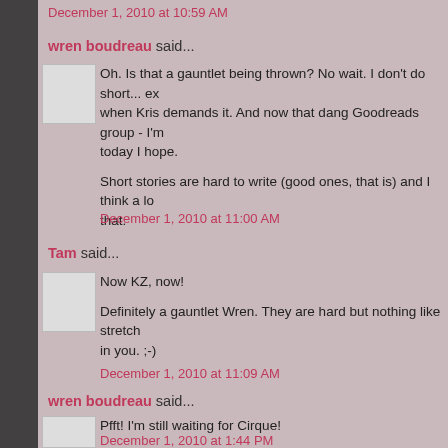December 1, 2010 at 10:59 AM
wren boudreau said...
Oh. Is that a gauntlet being thrown? No wait. I don't do short... except when Kris demands it. And now that dang Goodreads group - I'm posting today I hope.

Short stories are hard to write (good ones, that is) and I think a lot of writers overlook that.
December 1, 2010 at 11:00 AM
Tam said...
Now KZ, now!

Definitely a gauntlet Wren. They are hard but nothing like stretching what's in you. ;-)
December 1, 2010 at 11:09 AM
wren boudreau said...
Pfft! I'm still waiting for Cirque!
December 1, 2010 at 1:44 PM